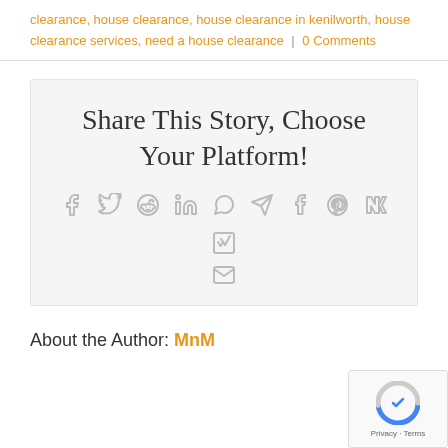clearance, house clearance, house clearance in kenilworth, house clearance services, need a house clearance | 0 Comments
[Figure (infographic): Share This Story, Choose Your Platform! box with social media icons: Facebook, Twitter, Reddit, LinkedIn, WhatsApp, Telegram, Tumblr, Pinterest, VK, XING, Email]
About the Author: MnM